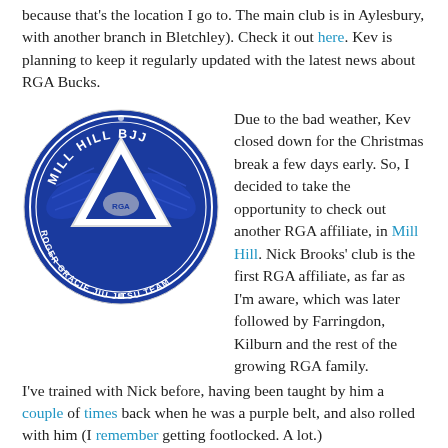because that's the location I go to. The main club is in Aylesbury, with another branch in Bletchley). Check it out here. Kev is planning to keep it regularly updated with the latest news about RGA Bucks.
[Figure (logo): Mill Hill BJJ circular logo — Roger Gracie Jiu Jitsu Team, blue circle with white triangle and eagle/wings design]
Due to the bad weather, Kev closed down for the Christmas break a few days early. So, I decided to take the opportunity to check out another RGA affiliate, in Mill Hill. Nick Brooks' club is the first RGA affiliate, as far as I'm aware, which was later followed by Farringdon, Kilburn and the rest of the growing RGA family.
I've trained with Nick before, having been taught by him a couple of times back when he was a purple belt, and also rolled with him (I remember getting footlocked. A lot.)
This was the first time I'd experienced a Nick Brooks class at his own school. It is relatively easy to get to; I hopped on the